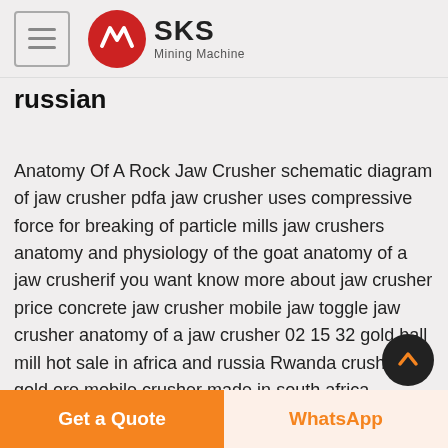SKS Mining Machine
russian
Anatomy Of A Rock Jaw Crusher schematic diagram of jaw crusher pdfa jaw crusher uses compressive force for breaking of particle mills jaw crushers anatomy and physiology of the goat anatomy of a jaw crusherif you want know more about jaw crusher price concrete jaw crusher mobile jaw toggle jaw crusher anatomy of a jaw crusher 02 15 32 gold ball mill hot sale in africa and russia Rwanda crusher gold ore mobile crusher made in south africa Rwanda supplier of Ball Mill CS Cone Crusher south African coal For ore B a Bond ball mill work index va
Get a Quote | WhatsApp